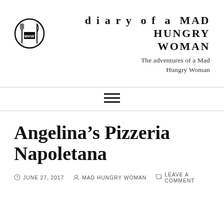[Figure (logo): Mad Hungry Woman blog logo — circular icon with fork and knife symbols and text 'MHW' inside]
diary of a MAD HUNGRY WOMAN
The adventures of a Mad Hungry Woman
[Figure (other): Hamburger menu icon — three horizontal lines]
Angelina's Pizzeria Napoletana
JUNE 27, 2017   MAD HUNGRY WOMAN   LEAVE A COMMENT